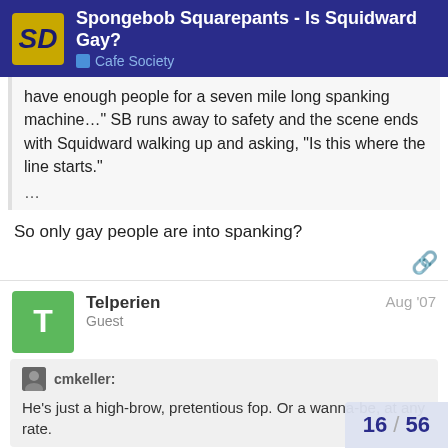Spongebob Squarepants - Is Squidward Gay? | Cafe Society
have enough people for a seven mile long spanking machine…" SB runs away to safety and the scene ends with Squidward walking up and asking, "Is this where the line starts."
…
So only gay people are into spanking?
Telperien
Guest
Aug '07
cmkeller:
He's just a high-brow, pretentious fop. Or a wanna-be, at any rate.
16 / 56